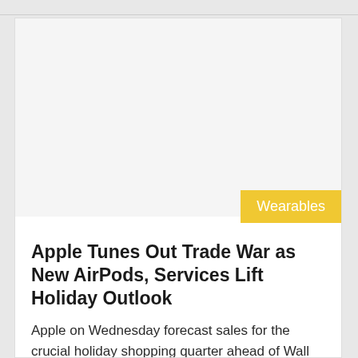[Figure (other): Advertisement placeholder area — light gray rectangle]
Wearables
Apple Tunes Out Trade War as New AirPods, Services Lift Holiday Outlook
Apple on Wednesday forecast sales for the crucial holiday shopping quarter ahead of Wall Street expectations, with Chief Executive Tim Cook seeing